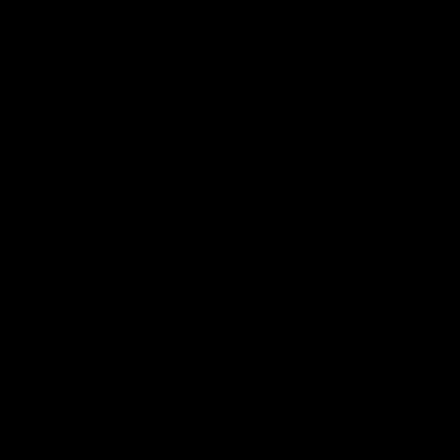[Figure (photo): A completely black image with no visible content or detail. The entire page is filled with black.]